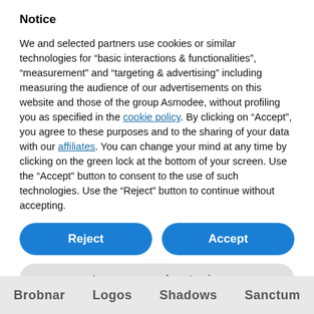Notice
We and selected partners use cookies or similar technologies for “basic interactions & functionalities”, “measurement” and “targeting & advertising” including measuring the audience of our advertisements on this website and those of the group Asmodee, without profiling you as specified in the cookie policy. By clicking on “Accept”, you agree to these purposes and to the sharing of your data with our affiliates. You can change your mind at any time by clicking on the green lock at the bottom of your screen. Use the “Accept” button to consent to the use of such technologies. Use the “Reject” button to continue without accepting.
Reject
Accept
Learn more and customize
Brobnar   Logos   Shadows   Sanctum